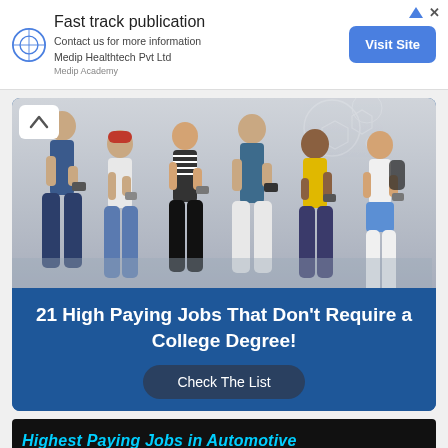[Figure (other): Advertisement banner for Medip Academy - Fast track publication, Contact us for more information, Medip Healthtech Pvt Ltd, with Visit Site button]
[Figure (photo): Photo of six young people standing against a concrete wall, all looking at their smartphones. Blue background card with bold white text: 21 High Paying Jobs That Don't Require a College Degree! and a Check The List button.]
[Figure (other): Bottom banner with dark background and cyan bold italic text: Highest Paying Jobs in Automotive]